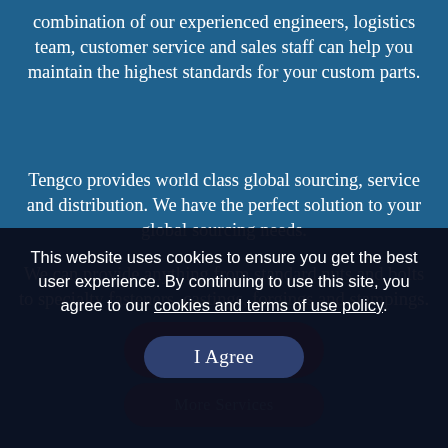combination of our experienced engineers, logistics team, customer service and sales staff can help you maintain the highest standards for your custom parts.
Tengco provides world class global sourcing, service and distribution. We have the perfect solution to your global sourcing needs.
We can provide anything from standard nuts and bolts to specialty fasteners, castings, forgings and stampings.
[Figure (other): Red rounded rectangle button labeled 'Contact Us']
[Figure (other): Red rounded rectangle button labeled 'More Services' (partially visible behind cookie banner)]
This website uses cookies to ensure you get the best user experience. By continuing to use this site, you agree to our cookies and terms of use policy.
[Figure (other): Dark blue rounded rectangle button labeled 'I Agree']